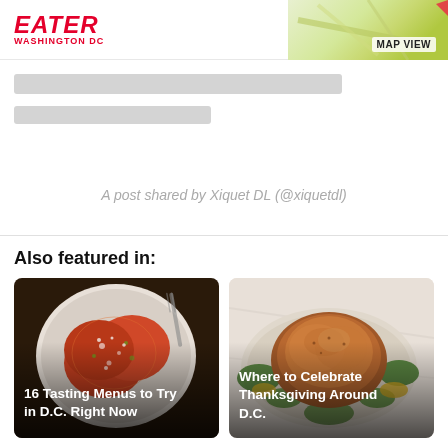EATER WASHINGTON DC
A post shared by Xiquet DL (@xiquetdl)
Also featured in:
[Figure (photo): Overhead photo of garnished tomato dish on white plate with fork, text overlay: 16 Tasting Menus to Try in D.C. Right Now]
[Figure (photo): Overhead photo of roasted turkey/chicken on platter with greens, text overlay: Where to Celebrate Thanksgiving Around D.C.]